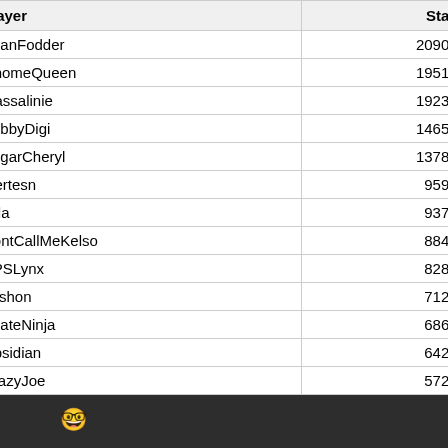| Player | Stack |
| --- | --- |
| RyanFodder | 209090 |
| GnomeQueen | 195190 |
| Massalinie | 192307 |
| BobbyDigi | 146590 |
| SugarCheryl | 137870 |
| mertesn | 95961 |
| cola | 93774 |
| DontCallMeKelso | 88457 |
| UPSLynx | 82866 |
| Tushon | 71290 |
| PirateNinja | 68643 |
| Obsidian | 64258 |
| CrazyJoe | 57224 |
🤓
BobbyDigi  ? R U #Hats !  TX
Icrontian
April 2021  edited April 2021